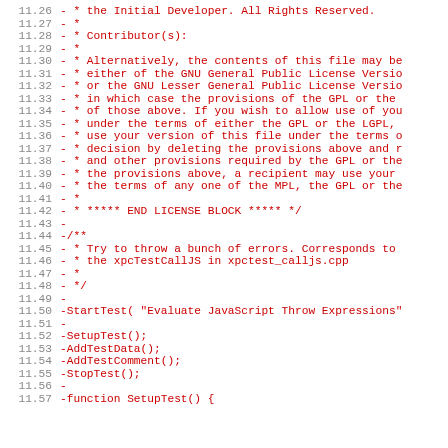Source code diff listing lines 11.26–11.57 showing removed lines (prefixed with -) from a JavaScript/C++ test file with license block and test function stubs.